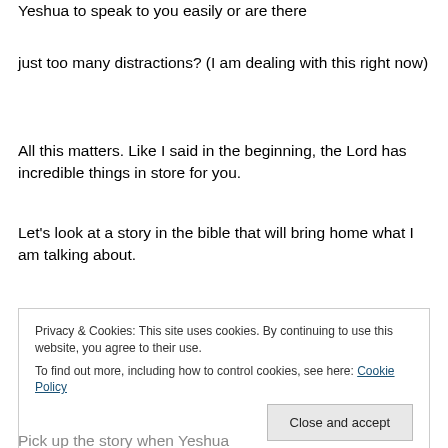Yeshua to speak to you easily or are there
just too many distractions? (I am dealing with this right now)
All this matters. Like I said in the beginning, the Lord has incredible things in store for you.
Let's look at a story in the bible that will bring home what I am talking about.
Privacy & Cookies: This site uses cookies. By continuing to use this website, you agree to their use. To find out more, including how to control cookies, see here: Cookie Policy
Pick up the story when Yeshua